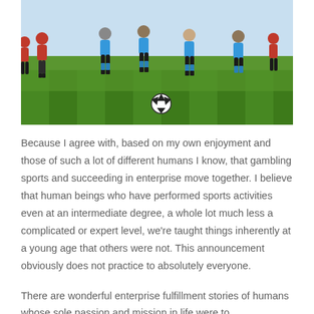[Figure (photo): Children playing soccer on a grass field; blue-shirted team vs red-shirted team, with a soccer ball visible on the green grass]
Because I agree with, based on my own enjoyment and those of such a lot of different humans I know, that gambling sports and succeeding in enterprise move together. I believe that human beings who have performed sports activities even at an intermediate degree, a whole lot much less a complicated or expert level, we're taught things inherently at a young age that others were not. This announcement obviously does not practice to absolutely everyone.
There are wonderful enterprise fulfillment stories of humans whose sole passion and mission in life were to